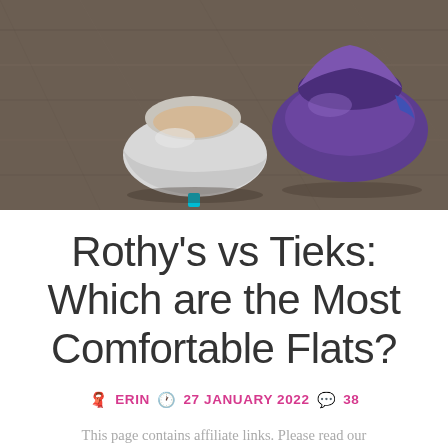[Figure (photo): Top-down view of two flat shoes on a wooden floor background. Left shoe is a light grey/silver ballet flat with a teal accent tab. Right shoe is a purple/dark flat shoe with a purple and blue fabric upper.]
Rothy's vs Tieks: Which are the Most Comfortable Flats?
🧣 ERIN 🕐 27 JANUARY 2022 💬 38
This page contains affiliate links. Please read our